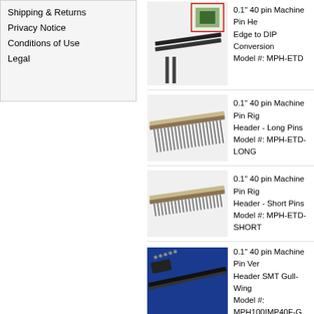Shipping & Returns
Privacy Notice
Conditions of Use
Legal
[Figure (photo): 0.1 inch 40 pin Machine Pin Header Edge to DIP Conversion - product image showing pins and PCB adapter]
0.1" 40 pin Machine Pin He... Edge to DIP Conversion
Model #: MPH-ETD
[Figure (photo): 0.1 inch 40 pin Machine Pin Right Angle Header - Long Pins product image]
0.1" 40 pin Machine Pin Rig... Header - Long Pins
Model #: MPH-ETD-LONG
[Figure (photo): 0.1 inch 40 pin Machine Pin Right Angle Header - Short Pins product image]
0.1" 40 pin Machine Pin Rig... Header - Short Pins
Model #: MPH-ETD-SHORT
[Figure (photo): 0.1 inch 40 pin Machine Pin Vertical Header SMT Gull-Wing product image on blue background]
0.1" 40 pin Machine Pin Ver... Header SMT Gull-Wing
Model #: MPH100IMP40F-G...
[Figure (photo): 0.1 inch 40 pin Machine Pin Vertical Header SMT Posts product image on blue background]
0.1" 40 pin Machine Pin Ver... Header SMT Posts
Model #: MPH100IMP40F-G...